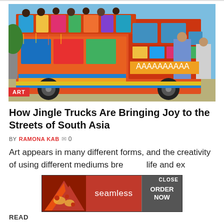[Figure (photo): A heavily decorated and colorfully painted jingle truck (Pakistani Bedford truck) on the street, overflowing with people on top and hanging off the sides. The truck is ornately decorated with paintings and metalwork in vivid reds, blues, greens, yellows. Men in traditional dress are visible.]
How Jingle Trucks Are Bringing Joy to the Streets of South Asia
BY RAMONA KAB  0
Art appears in many different forms, and the creativity of using different mediums breathes life and ex...
[Figure (screenshot): Advertisement overlay: Seamless food delivery app ad showing pizza image on left, 'seamless' brand name in center on red background, 'ORDER NOW' button on right in gray, with 'CLOSE' button at top right corner.]